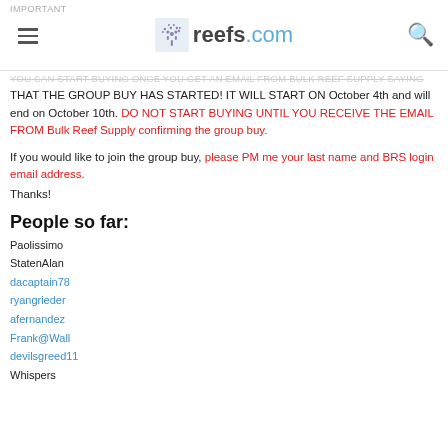IMPORTANT reefs.com
YOU CAN START BUYING ONCE YOU GET AN EMAIL FROM BULK REEF SUPPLY SAYING THAT THE GROUP BUY HAS STARTED! IT WILL START ON October 4th and will end on October 10th. DO NOT START BUYING UNTIL YOU RECEIVE THE EMAIL FROM Bulk Reef Supply confirming the group buy.
If you would like to join the group buy, please PM me your last name and BRS login email address.
Thanks!
People so far:
Paolissimo
StatenAlan
dacaptain78
ryangrieder
afernandez
Frank@Wall
devilsgreed11
Whispers